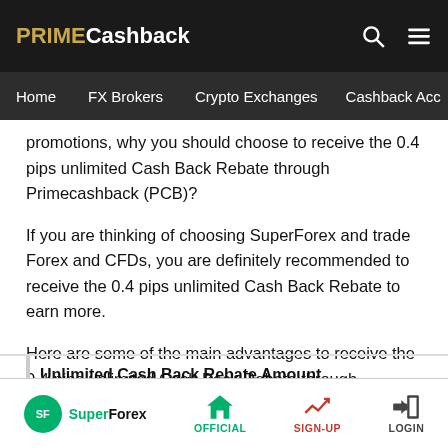PRIMECashback
Home  FX Brokers  Crypto Exchanges  Cashback Acc
promotions, why you should choose to receive the 0.4 pips unlimited Cash Back Rebate through Primecashback (PCB)?
If you are thinking of choosing SuperForex and trade Forex and CFDs, you are definitely recommended to receive the 0.4 pips unlimited Cash Back Rebate to earn more.
Here are some of the main advantages to receive the 0.4 pips unlimited Cash Back Rebate through Primecashback (PCB).
Unlimited Cash Back Rebate Amount
SuperForex  OFFICIAL  SIGN-UP  LOGIN